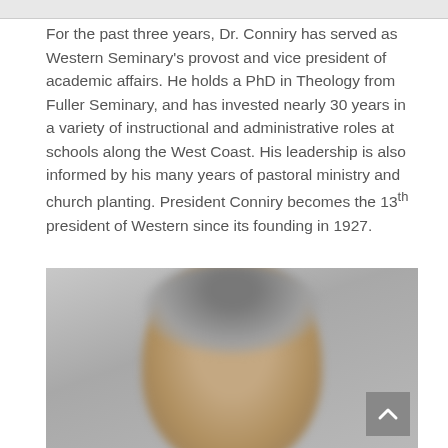For the past three years, Dr. Conniry has served as Western Seminary's provost and vice president of academic affairs. He holds a PhD in Theology from Fuller Seminary, and has invested nearly 30 years in a variety of instructional and administrative roles at schools along the West Coast. His leadership is also informed by his many years of pastoral ministry and church planting. President Conniry becomes the 13th president of Western since its founding in 1927.
[Figure (photo): Partial headshot photo of a middle-aged man with short grey-brown hair, photographed against a light grey background. Only the top and upper portion of the head is visible, with the face cropped at the bottom of the frame.]